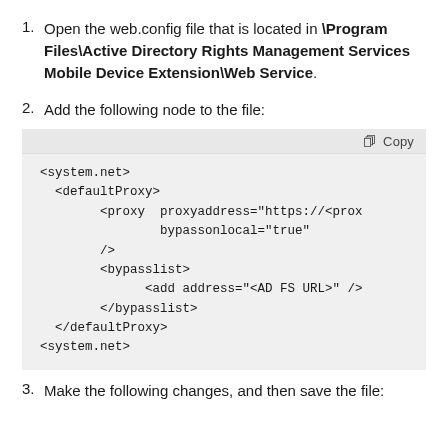Open the web.config file that is located in \Program Files\Active Directory Rights Management Services Mobile Device Extension\Web Service.
Add the following node to the file:
[Figure (screenshot): Code block with XML snippet showing system.net, defaultProxy, proxy, bypasslist configuration. Includes a Copy button in the top-right corner.]
Make the following changes, and then save the file: